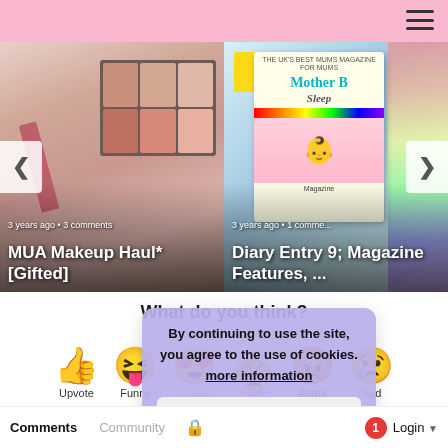[Figure (photo): Makeup palette haul image with carousel navigation arrows]
3 years ago • 3 comments
MUA Makeup Haul* [Gifted]
[Figure (photo): Mother Baby magazine cover with rainbow and baby photo]
3 years ago • 1 comme...
Diary Entry 9; Magazine Features, ...
What do you think?
0 Responses
[Figure (infographic): Emoji reaction buttons: Upvote (thumbs up), Funny (laughing face), Love (heart eyes), Surprised, Angry, Sad (crying face)]
By continuing to use the site, you agree to the use of cookies. more information
accept
Comments  Community  Login